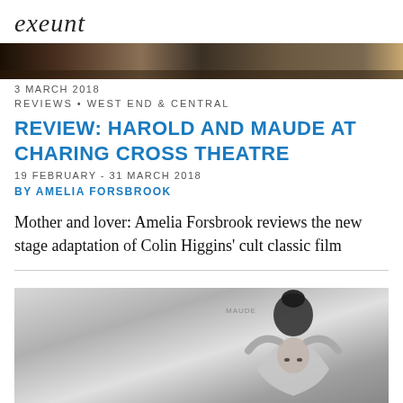exeunt
[Figure (photo): Dark horizontal strip showing a room interior with bookshelves and furniture]
3 MARCH 2018
REVIEWS • WEST END & CENTRAL
REVIEW: HAROLD AND MAUDE AT CHARING CROSS THEATRE
19 FEBRUARY - 31 MARCH 2018
BY AMELIA FORSBROOK
Mother and lover: Amelia Forsbrook reviews the new stage adaptation of Colin Higgins' cult classic film
[Figure (photo): Black and white photograph of a person with dark hair in a bun, viewed from above/behind, arms raised]